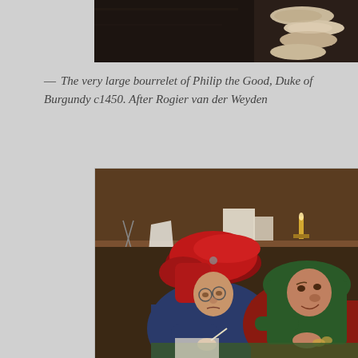[Figure (photo): Top portion of a painting showing draped fabric or scrolls against a dark background — appears to be a cropped detail of a historical oil painting]
— The very large bourrelet of Philip the Good, Duke of Burgundy c1450. After Rogier van der Weyden
[Figure (photo): Oil painting depicting two men in a workshop or study: one wearing a large red draped hat (bourrelet) with spectacles, writing at a desk; the other in a green hood leaning over him. Background shows shelves with scissors, candle, books, and other objects. Likely a Flemish Renaissance style painting referencing the tax collector or money changer theme.]